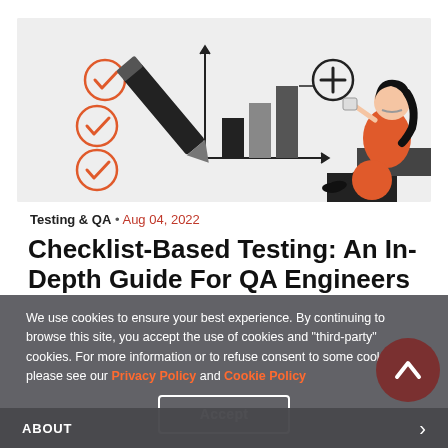[Figure (illustration): Hero illustration showing a checklist with orange checkmarks, a bar chart with a pencil, and a woman sitting reading with orange accent colors on a light gray background.]
Testing & QA • Aug 04, 2022
Checklist-Based Testing: An In-Depth Guide For QA Engineers
We use cookies to ensure your best experience. By continuing to browse this site, you accept the use of cookies and "third-party" cookies. For more information or to refuse consent to some cookies, please see our Privacy Policy and Cookie Policy
Accept
ABOUT